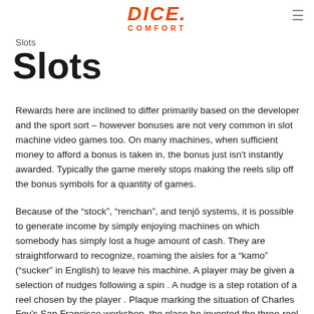DICE COMFORT
Slots
Slots
Rewards here are inclined to differ primarily based on the developer and the sport sort – however bonuses are not very common in slot machine video games too. On many machines, when sufficient money to afford a bonus is taken in, the bonus just isn't instantly awarded. Typically the game merely stops making the reels slip off the bonus symbols for a quantity of games.
Because of the “stock”, “renchan”, and tenjō systems, it is possible to generate income by simply enjoying machines on which somebody has simply lost a huge amount of cash. They are straightforward to recognize, roaming the aisles for a “kamo” (“sucker” in English) to leave his machine. A player may be given a selection of nudges following a spin . A nudge is a step rotation of a reel chosen by the player . Plaque marking the situation of Charles Fey’s San Francisco workshop, the place he invented the three-reel slot machine. To make it easier for players to get